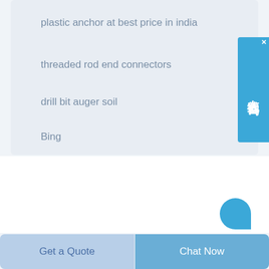plastic anchor at best price in india
threaded rod end connectors
drill bit auger soil
Bing
Google
[Figure (other): Chinese language live chat widget with text 在线咨询 (online consultation) on a blue background with close button]
[Figure (other): Blue circular chat button partially visible at bottom right]
Get a Quote
Chat Now